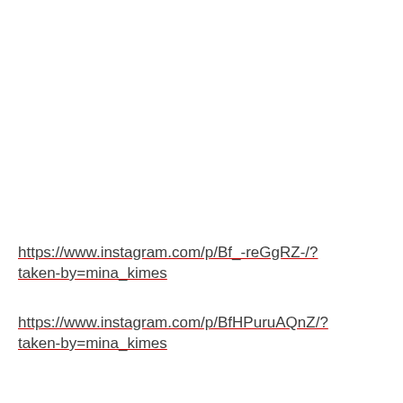https://www.instagram.com/p/Bf_-reGgRZ-/?
taken-by=mina_kimes
https://www.instagram.com/p/BfHPuruAQnZ/?
taken-by=mina_kimes